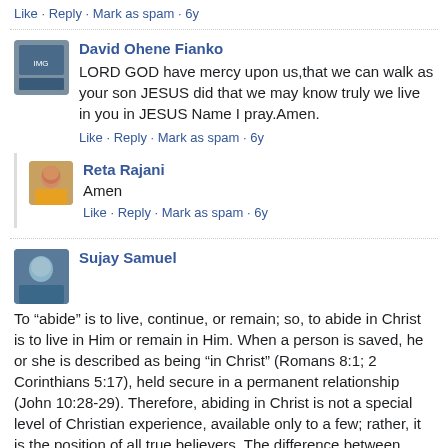Like · Reply · Mark as spam · 6y
David Ohene Fianko
LORD GOD have mercy upon us,that we can walk as your son JESUS did that we may know truly we live in you in JESUS Name I pray.Amen.
Like · Reply · Mark as spam · 6y
Reta Rajani
Amen
Like · Reply · Mark as spam · 6y
Sujay Samuel
To “abide” is to live, continue, or remain; so, to abide in Christ is to live in Him or remain in Him. When a person is saved, he or she is described as being “in Christ” (Romans 8:1; 2 Corinthians 5:17), held secure in a permanent relationship (John 10:28-29). Therefore, abiding in Christ is not a special level of Christian experience, available only to a few; rather, it is the position of all true believers. The difference between those abiding in Christ and those not abiding in Christ is